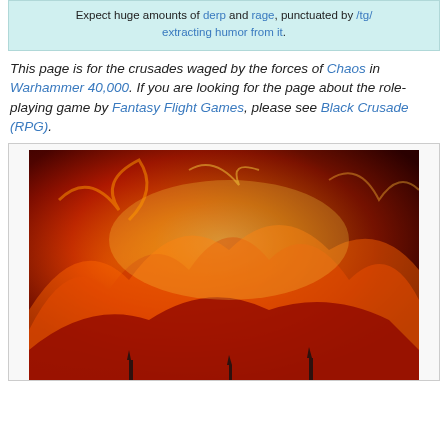Expect huge amounts of derp and rage, punctuated by /tg/ extracting humor from it.
This page is for the crusades waged by the forces of Chaos in Warhammer 40,000. If you are looking for the page about the role-playing game by Fantasy Flight Games, please see Black Crusade (RPG).
[Figure (photo): A large photograph of intense fire and flames with dark silhouettes of structures visible at the bottom, against a backdrop of swirling red, orange, and yellow fire.]